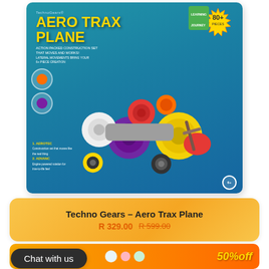[Figure (photo): Product box of Techno Gears Aero Trax Plane construction toy set with colorful interlocking gears shaped as a plane, blue box with yellow title text and a starburst badge showing 80+ pieces]
Techno Gears - Aero Trax Plane
R 329.00 R 599.00
Chat with us
[Figure (photo): Bottom banner showing colorful toys with '50% off' text on an orange gradient background with 'Live' brand logo]